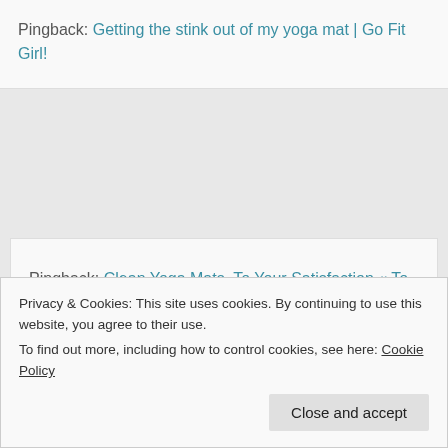Pingback: Getting the stink out of my yoga mat | Go Fit Girl!
Pingback: Clean Yoga Mats, To Your Satisfaction « To Your Satisfaction
Privacy & Cookies: This site uses cookies. By continuing to use this website, you agree to their use.
To find out more, including how to control cookies, see here: Cookie Policy